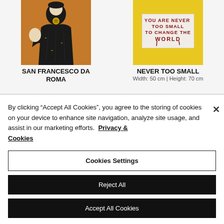[Figure (illustration): Artwork showing a figure in dark robes on orange background - San Francesco da Roma]
SAN FRANCESCO DA ROMA
[Figure (illustration): Banksy-style artwork showing a small figure holding a protest sign reading YOU ARE NEVER TOO SMALL TO CHANGE THE WORLD on yellow background]
NEVER TOO SMALL
Width: 50 cm | Height: 70 cm
By clicking “Accept All Cookies”, you agree to the storing of cookies on your device to enhance site navigation, analyze site usage, and assist in our marketing efforts.  Privacy & Cookies
Cookies Settings
Reject All
Accept All Cookies